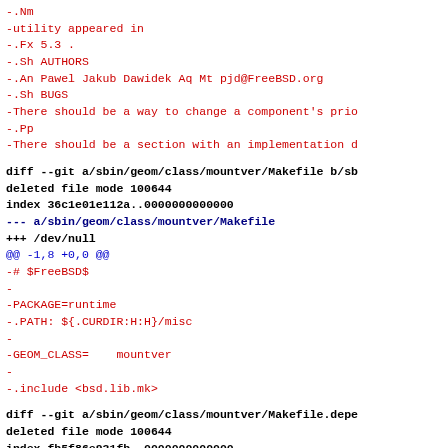-.Nm
-utility appeared in
-.Fx 5.3 .
-.Sh AUTHORS
-.An Pawel Jakub Dawidek Aq Mt pjd@FreeBSD.org
-.Sh BUGS
-There should be a way to change a component's prio
-.Pp
-There should be a section with an implementation d
diff --git a/sbin/geom/class/mountver/Makefile b/sb
deleted file mode 100644
index 36c1e01e112a..0000000000000
--- a/sbin/geom/class/mountver/Makefile
+++ /dev/null
@@ -1,8 +0,0 @@
-# $FreeBSD$
-
-PACKAGE=runtime
-.PATH: ${.CURDIR:H:H}/misc
-
-GEOM_CLASS=    mountver
-
-.include <bsd.lib.mk>
diff --git a/sbin/geom/class/mountver/Makefile.depe
deleted file mode 100644
index fb5f86e931fb..0000000000000
--- a/sbin/geom/class/mountver/Makefile.depend
+++ /dev/null
@@ -1,19 +0,0 @@